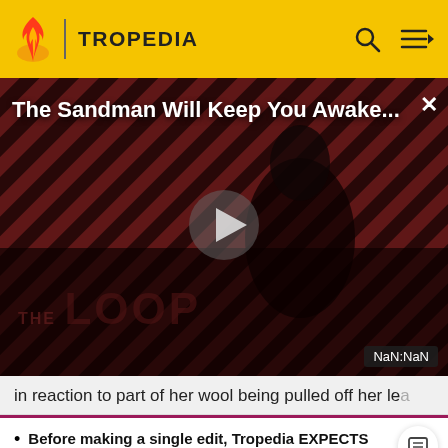[Figure (screenshot): Tropedia website header with yellow background, flame logo, TROPEDIA text, search and menu icons]
[Figure (screenshot): Video player thumbnail showing 'The Sandman Will Keep You Awake...' with a dark figure on striped background, play button, THE LOOP text, and NaN:NaN timer]
in reaction to part of her wool being pulled off her le
Before making a single edit, Tropedia EXPECTS our site policy and manual of style to be followed. Failure to do so may
READ MORE